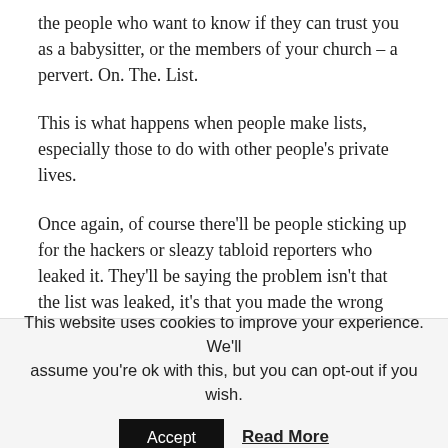the people who want to know if they can trust you as a babysitter, or the members of your church – a pervert. On. The. List.
This is what happens when people make lists, especially those to do with other people's private lives.
Once again, of course there'll be people sticking up for the hackers or sleazy tabloid reporters who leaked it. They'll be saying the problem isn't that the list was leaked, it's that you made the wrong decision in the first place. If only you'd conformed to their view of what was moral, then people wouldn't be judging you.
This website uses cookies to improve your experience. We'll assume you're ok with this, but you can opt-out if you wish. Accept Read More